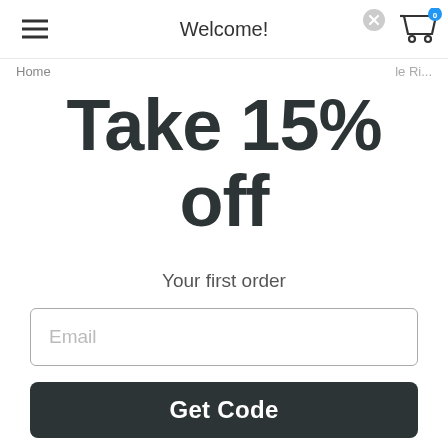Welcome!
Take 15% off
Your first order
Email
Get Code